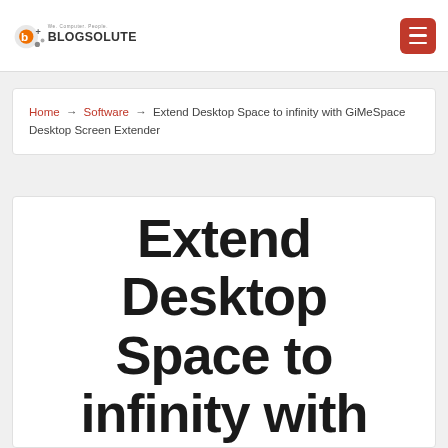Blogsolute — We. Computer. People.
Home → Software → Extend Desktop Space to infinity with GiMeSpace Desktop Screen Extender
Extend Desktop Space to infinity with GiMeSpace